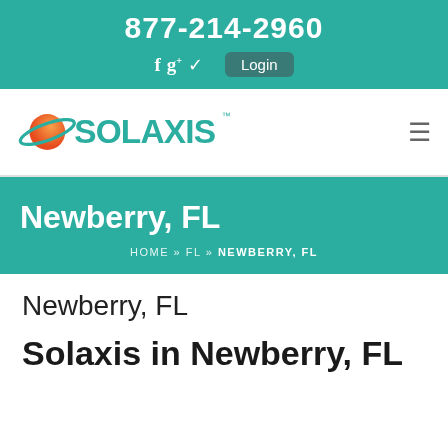877-214-2960
[Figure (logo): Solaxis company logo with orange planet/orbit graphic and teal SOLAXIS text]
Newberry, FL
HOME » FL » NEWBERRY, FL
Newberry, FL
Solaxis in Newberry, FL